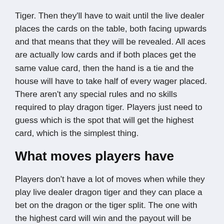Tiger. Then they'll have to wait until the live dealer places the cards on the table, both facing upwards and that means that they will be revealed. All aces are actually low cards and if both places get the same value card, then the hand is a tie and the house will have to take half of every wager placed. There aren't any special rules and no skills required to play dragon tiger. Players just need to guess which is the spot that will get the highest card, which is the simplest thing.
What moves players have
Players don't have a lot of moves when while they play live dealer dragon tiger and they can place a bet on the dragon or the tiger split. The one with the highest card will win and the payout will be done accordingly. There are even tie bets that players can place if the result of the cards is an equal value. The payout for this bet is actually 8:1,